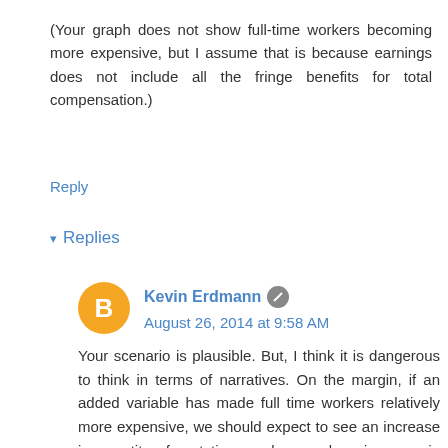(Your graph does not show full-time workers becoming more expensive, but I assume that is because earnings does not include all the fringe benefits for total compensation.)
Reply
▾ Replies
Kevin Erdmann  August 26, 2014 at 9:58 AM
Your scenario is plausible. But, I think it is dangerous to think in terms of narratives. On the margin, if an added variable has made full time workers relatively more expensive, we should expect to see an increase in quantity of part time workers and an increase in wages for part time workers, as - at the margin - employers and workers would converge on a new work balance with neutral costs.
I'm with you, that I would expect it to happen, and